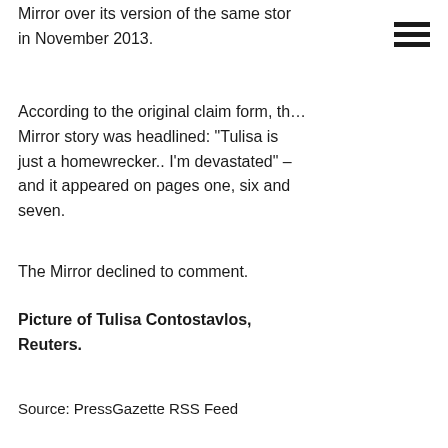Mirror over its version of the same stor in November 2013.
According to the original claim form, th… Mirror story was headlined: “Tulisa is just a homewrecker.. I’m devastated” – and it appeared on pages one, six and seven.
The Mirror declined to comment.
Picture of Tulisa Contostavlos, Reuters.
Source: PressGazette RSS Feed